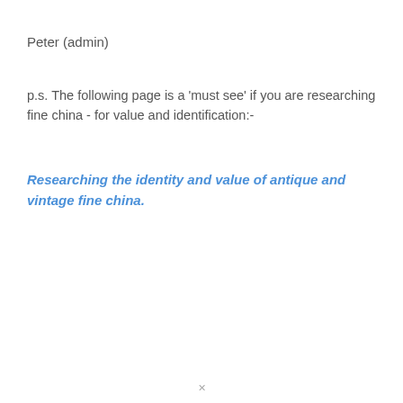Peter (admin)
p.s. The following page is a 'must see' if you are researching fine china - for value and identification:-
Researching the identity and value of antique and vintage fine china.